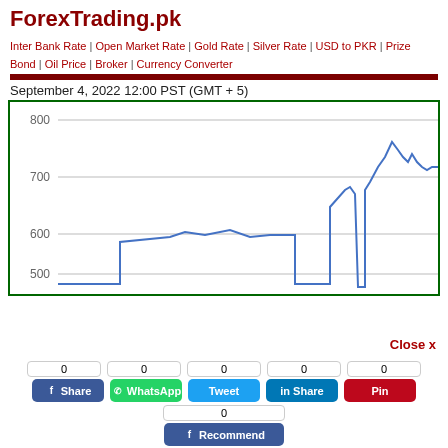ForexTrading.pk
Inter Bank Rate | Open Market Rate | Gold Rate | Silver Rate | USD to PKR | Prize Bond | Oil Price | Broker | Currency Converter
September 4, 2022 12:00 PST (GMT + 5)
[Figure (continuous-plot): Line chart showing forex/gold rate over time with y-axis from 500 to 800, showing a step up from ~480 to ~570 then a jump to ~630, then climbing to a peak near 760 before settling around 710]
Close x
0  Share  0  WhatsApp  0  Tweet  0  Share  0  Pin  0  Recommend